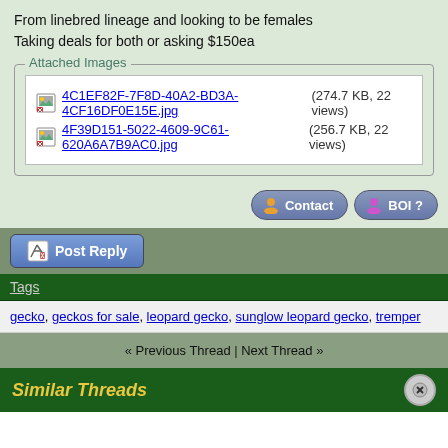From linebred lineage and looking to be females
Taking deals for both or asking $150ea
Attached Images
4C1EF82F-7F8D-40A2-BD3A-4CF16DF0E15E.jpg (274.7 KB, 22 views)
4F39D151-5022-4609-9C61-620A6A7B9AC0.jpg (256.7 KB, 22 views)
Contact | BOI ?
Post Reply
Tags
gecko, geckos for sale, leopard gecko, sunglow leopard gecko, tremper
« Previous Thread | Next Thread »
Similar Threads